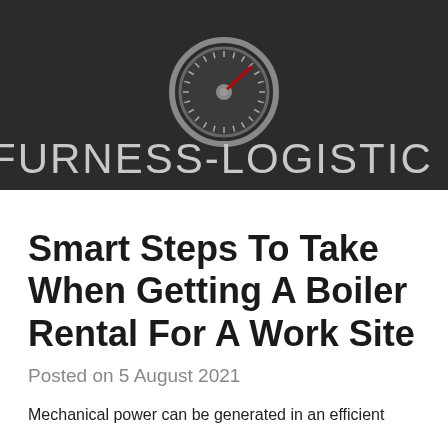[Figure (logo): Furness-Logistics logo: dark background with a speedometer/gauge icon in grey and red, and the text FURNESS-LOGISTICS in large grey letters]
Smart Steps To Take When Getting A Boiler Rental For A Work Site
Posted on 5 August 2021
Mechanical power can be generated in an efficient